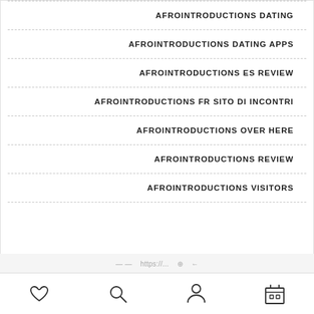AFROINTRODUCTIONS DATING
AFROINTRODUCTIONS DATING APPS
AFROINTRODUCTIONS ES REVIEW
AFROINTRODUCTIONS FR SITO DI INCONTRI
AFROINTRODUCTIONS OVER HERE
AFROINTRODUCTIONS REVIEW
AFROINTRODUCTIONS VISITORS